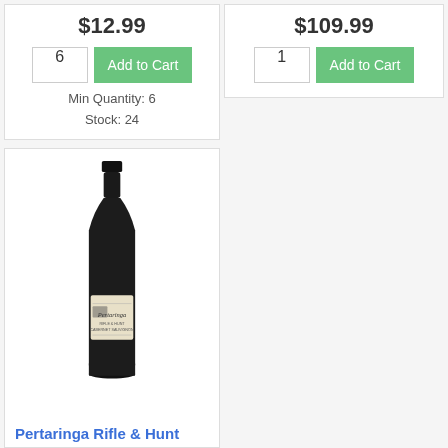$12.99
6
Add to Cart
Min Quantity: 6
Stock: 24
$109.99
1
Add to Cart
[Figure (photo): Dark wine bottle with cream/beige label reading Pertaringa, standing upright against white background]
Pertaringa Rifle & Hunt